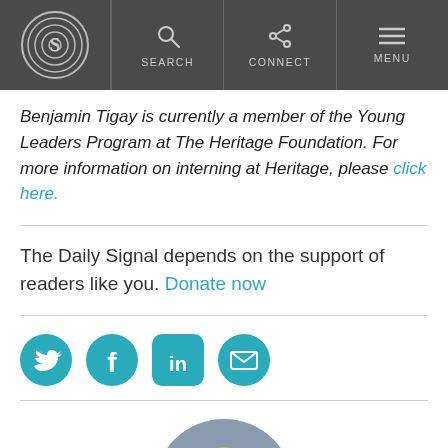The Daily Signal - Navigation bar with logo, SEARCH, CONNECT, MENU
Benjamin Tigay is currently a member of the Young Leaders Program at The Heritage Foundation. For more information on interning at Heritage, please click here.
The Daily Signal depends on the support of readers like you. Donate now
[Figure (other): Social media share icons: Twitter, Facebook, LinkedIn, Email — teal circular buttons]
[Figure (photo): Circular author headshot photo, partially visible at bottom of page]